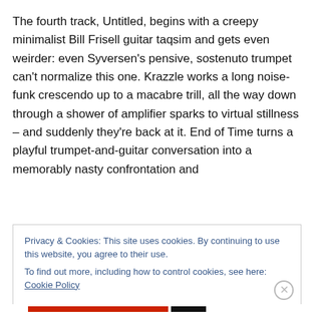The fourth track, Untitled, begins with a creepy minimalist Bill Frisell guitar taqsim and gets even weirder: even Syversen's pensive, sostenuto trumpet can't normalize this one. Krazzle works a long noise-funk crescendo up to a macabre trill, all the way down through a shower of amplifier sparks to virtual stillness – and suddenly they're back at it. End of Time turns a playful trumpet-and-guitar conversation into a memorably nasty confrontation and
Privacy & Cookies: This site uses cookies. By continuing to use this website, you agree to their use.
To find out more, including how to control cookies, see here: Cookie Policy
Close and accept